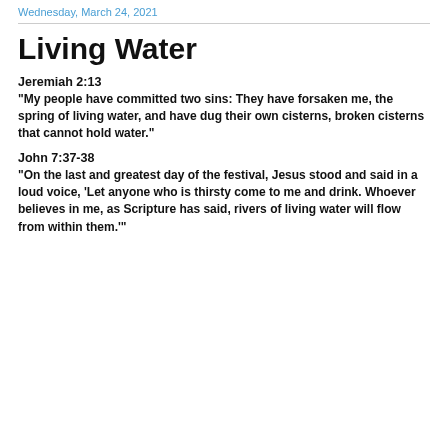Wednesday, March 24, 2021
Living Water
Jeremiah 2:13
“My people have committed two sins:  They have forsaken me, the spring of living water, and have dug their own cisterns, broken cisterns that cannot hold water.”
John 7:37-38
“On the last and greatest day of the festival, Jesus stood and said in a loud voice, ‘Let anyone who is thirsty come to me and drink.  Whoever believes in me, as Scripture has said, rivers of living water will flow from within them.’”